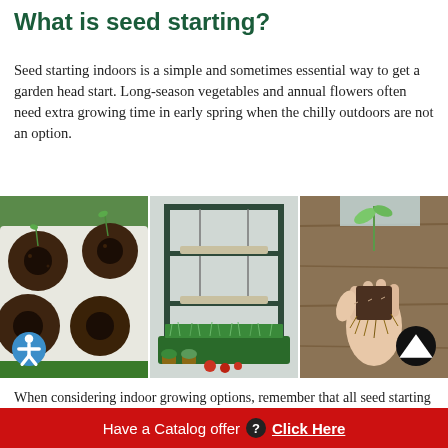What is seed starting?
Seed starting indoors is a simple and sometimes essential way to get a garden head start. Long-season vegetables and annual flowers often need extra growing time in early spring when the chilly outdoors are not an option.
[Figure (photo): Three side-by-side photos: left shows seed starting trays with soil plugs and seedlings; center shows an indoor growing light stand with microgreens and tomatoes; right shows a hand holding a seedling plug with roots.]
When considering indoor growing options, remember that all seed starting kits are not created equal.
Have a Catalog offer ? Click Here